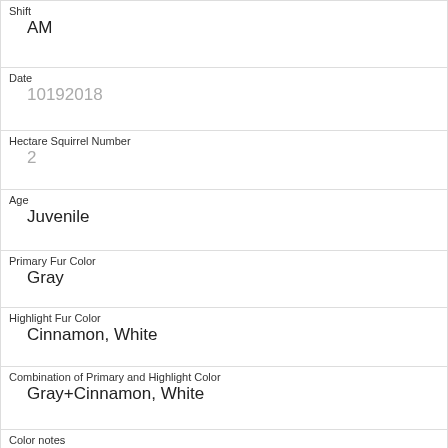| Shift | AM |
| Date | 10192018 |
| Hectare Squirrel Number | 2 |
| Age | Juvenile |
| Primary Fur Color | Gray |
| Highlight Fur Color | Cinnamon, White |
| Combination of Primary and Highlight Color | Gray+Cinnamon, White |
| Color notes |  |
| Location | Ground Plane |
| Above Ground Sighter Measurement | FALSE |